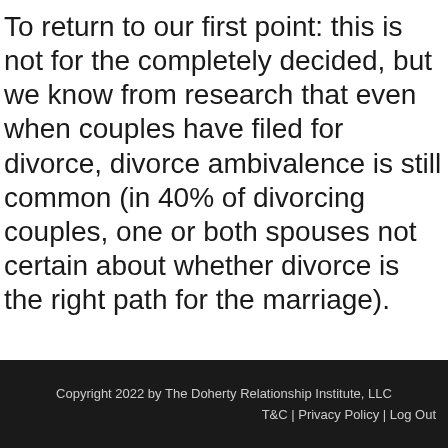To return to our first point: this is not for the completely decided, but we know from research that even when couples have filed for divorce, divorce ambivalence is still common (in 40% of divorcing couples, one or both spouses not certain about whether divorce is the right path for the marriage).
Copyright 2022 by The Doherty Relationship Institute, LLC | T&C | Privacy Policy | Log Out